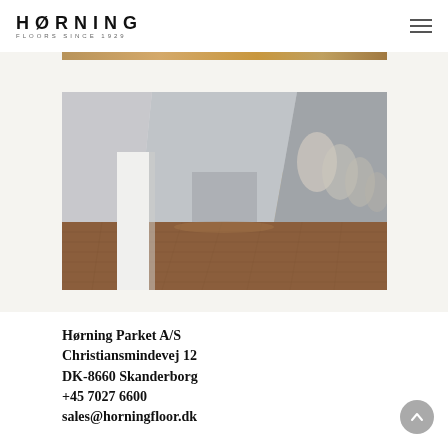HØRNING FLOORS SINCE 1929
[Figure (photo): Narrow strip of wooden floor texture at top of content area]
[Figure (photo): Interior corridor with wooden floor, white column on left, grey curved walls with uplighting receding into the distance]
Hørning Parket A/S
Christiansmindevej 12
DK-8660 Skanderborg
+45 7027 6600
sales@horningfloor.dk